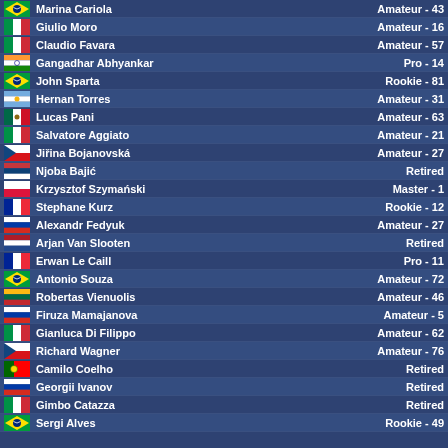Marina Cariola - Amateur - 43 - Brazil
Giulio Moro - Amateur - 16 - Italy
Claudio Favara - Amateur - 57 - Italy
Gangadhar Abhyankar - Pro - 14 - India
John Sparta - Rookie - 81 - Brazil
Hernan Torres - Amateur - 31 - Argentina
Lucas Pani - Amateur - 63 - Mexico
Salvatore Aggiato - Amateur - 21 - Italy
Jiřina Bojanovská - Amateur - 27 - Czech Republic
Njoba Bajić - Retired - Serbia
Krzysztof Szymański - Master - 1 - Poland
Stephane Kurz - Rookie - 12 - France
Alexandr Fedyuk - Amateur - 27 - Russia
Arjan Van Slooten - Retired - Netherlands
Erwan Le Caill - Pro - 11 - France
Antonio Souza - Amateur - 72 - Brazil
Robertas Vienuolis - Amateur - 46 - Lithuania
Firuza Mamajanova - Amateur - 5 - Russia
Gianluca Di Filippo - Amateur - 62 - Italy
Richard Wagner - Amateur - 76 - Czech Republic
Camilo Coelho - Retired - Portugal
Georgii Ivanov - Retired - Russia
Gimbo Catazza - Retired - Italy
Sergi Alves - Rookie - 49 - Brazil